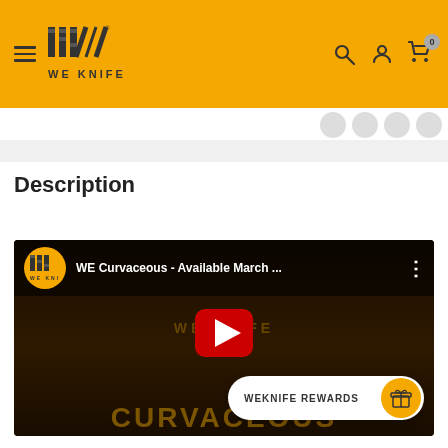WE KNIFE - Navigation header with hamburger menu, logo, search, account, and cart icons
Description
[Figure (screenshot): YouTube embedded video thumbnail showing WE Curvaceous - Available March ... with two people in WE Knife branded clothing, a red play button overlay, and YouTube UI elements. A WEKNIFE REWARDS rewards pill button is overlaid at the bottom right.]